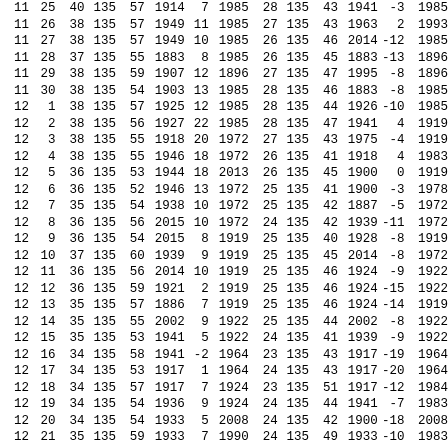| 11 | 25 | 40 | 135 | 57 | 1914 | 7 | 1985 | 28 | 135 | 43 | 1941 | -3 | 1985 |
| 11 | 26 | 38 | 135 | 57 | 1949 | 11 | 1985 | 27 | 135 | 43 | 1963 | 2 | 1993 |
| 11 | 27 | 38 | 135 | 57 | 1949 | 10 | 1985 | 26 | 135 | 46 | 2014 | -12 | 1985 |
| 11 | 28 | 37 | 135 | 55 | 1883 | 8 | 1985 | 26 | 135 | 45 | 1883 | -13 | 1896 |
| 11 | 29 | 38 | 135 | 59 | 1907 | 12 | 1896 | 27 | 135 | 47 | 1995 | -8 | 1896 |
| 11 | 30 | 38 | 135 | 54 | 1903 | 13 | 1985 | 28 | 135 | 46 | 1883 | -8 | 1985 |
| 12 | 1 | 38 | 135 | 57 | 1925 | 12 | 1985 | 28 | 135 | 44 | 1926 | -10 | 1985 |
| 12 | 2 | 38 | 135 | 56 | 1927 | 22 | 1985 | 28 | 135 | 47 | 1941 | 4 | 1919 |
| 12 | 3 | 38 | 135 | 55 | 1918 | 20 | 1972 | 27 | 135 | 43 | 1975 | -4 | 1919 |
| 12 | 4 | 38 | 135 | 55 | 1946 | 18 | 1972 | 26 | 135 | 41 | 1918 | 4 | 1983 |
| 12 | 5 | 36 | 135 | 53 | 1944 | 18 | 2013 | 26 | 135 | 45 | 1900 | 0 | 1919 |
| 12 | 6 | 36 | 135 | 52 | 1946 | 13 | 1972 | 25 | 135 | 41 | 1900 | -3 | 1978 |
| 12 | 7 | 35 | 135 | 54 | 1938 | 10 | 1972 | 25 | 135 | 42 | 1887 | -5 | 1972 |
| 12 | 8 | 36 | 135 | 56 | 2015 | 10 | 1972 | 24 | 135 | 42 | 1939 | -11 | 1972 |
| 12 | 9 | 36 | 135 | 54 | 2015 | 8 | 1919 | 25 | 135 | 40 | 1928 | -8 | 1919 |
| 12 | 10 | 37 | 135 | 60 | 1939 | 9 | 1919 | 25 | 135 | 45 | 2014 | -8 | 1972 |
| 12 | 11 | 36 | 135 | 56 | 2014 | 10 | 1919 | 25 | 135 | 46 | 1924 | -9 | 1922 |
| 12 | 12 | 36 | 135 | 59 | 1921 | 2 | 1919 | 25 | 135 | 46 | 1924 | -15 | 1922 |
| 12 | 13 | 35 | 135 | 57 | 1886 | 7 | 1919 | 25 | 135 | 46 | 1924 | -14 | 1919 |
| 12 | 14 | 35 | 135 | 55 | 2002 | 9 | 1922 | 25 | 135 | 44 | 2002 | -8 | 1922 |
| 12 | 15 | 35 | 135 | 53 | 1941 | 5 | 1922 | 24 | 135 | 41 | 1939 | -9 | 1922 |
| 12 | 16 | 34 | 135 | 58 | 1941 | -2 | 1964 | 23 | 135 | 43 | 1917 | -19 | 1964 |
| 12 | 17 | 34 | 135 | 53 | 1917 | 1 | 1964 | 24 | 135 | 43 | 1917 | -20 | 1964 |
| 12 | 18 | 34 | 135 | 57 | 1917 | 7 | 1924 | 23 | 135 | 51 | 1917 | -12 | 1984 |
| 12 | 19 | 34 | 135 | 54 | 1936 | 9 | 1924 | 24 | 135 | 44 | 1941 | -7 | 1983 |
| 12 | 20 | 34 | 135 | 54 | 1933 | 5 | 2008 | 24 | 135 | 42 | 1900 | -18 | 2008 |
| 12 | 21 | 35 | 135 | 59 | 1933 | 7 | 1990 | 24 | 135 | 49 | 1933 | -10 | 1983 |
| 12 | 22 | 34 | 135 | 54 | 1933 | 2 | 1983 | 24 | 135 | 45 | 1933 | -15 | 1983 |
| 12 | 23 | 34 | 135 | 51 | 1919 | 2 | 1983 | 24 | 135 | 45 | 1899 | -18 | 1983 |
| 12 | 24 | 34 | 135 | 55 | 1919 | 8 | 1884 | 23 | 135 | 43 | 1950 | -12 | 1884 |